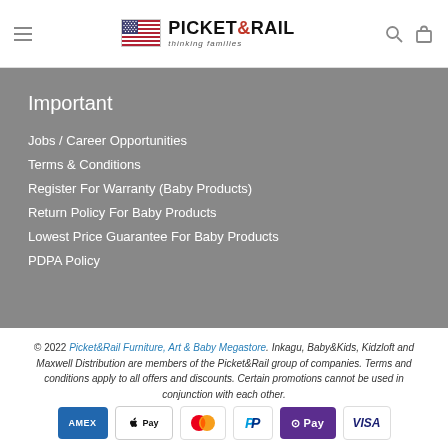Picket & Rail — thinking families
Important
Jobs / Career Opportunities
Terms & Conditions
Register For Warranty (Baby Products)
Return Policy For Baby Products
Lowest Price Guarantee For Baby Products
PDPA Policy
© 2022 Picket&Rail Furniture, Art & Baby Megastore. Inkagu, Baby&Kids, Kidzloft and Maxwell Distribution are members of the Picket&Rail group of companies. Terms and conditions apply to all offers and discounts. Certain promotions cannot be used in conjunction with each other.
[Figure (logo): Payment method icons: American Express, Apple Pay, Mastercard, PayPal, OPay, Visa]